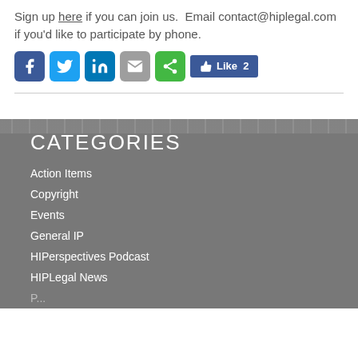Sign up here if you can join us.  Email contact@hiplegal.com if you'd like to participate by phone.
[Figure (infographic): Social share buttons: Facebook, Twitter, LinkedIn, Email, Share, and a Facebook Like button showing 2 likes]
CATEGORIES
Action Items
Copyright
Events
General IP
HIPerspectives Podcast
HIPLegal News